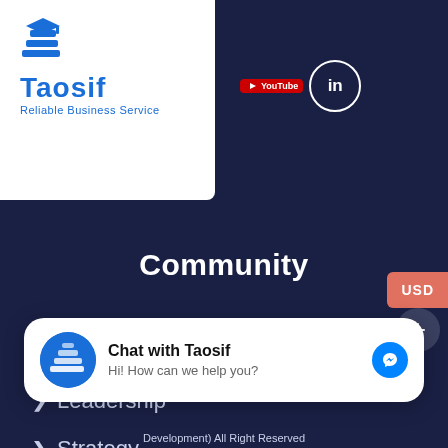[Figure (logo): Taosif logo with stacked books icon and text 'Taosif – Reliable Business Service', with YouTube and LinkedIn social icons]
Community
Career
Leadership
Strategy
Services
History
[Figure (screenshot): Chat widget with Taosif logo, text 'Chat with Taosif' and 'Hi! How can we help you?' with Messenger icon]
Development) All Right Reserved